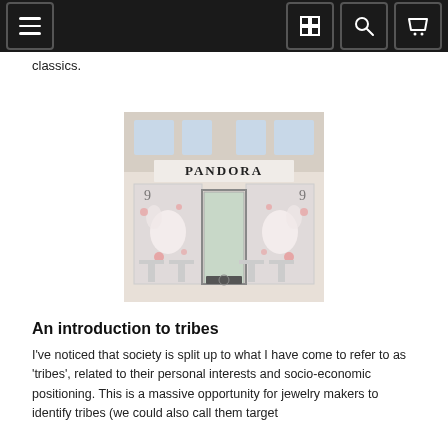[navigation bar with hamburger menu, grid, search, and cart icons]
classics.
[Figure (photo): Pandora jewelry store front with large PANDORA sign above the entrance, decorated display windows with floral/bunny motifs in pink and white]
An introduction to tribes
I've noticed that society is split up to what I have come to refer to as 'tribes', related to their personal interests and socio-economic positioning. This is a massive opportunity for jewelry makers to identify tribes (we could also call them target markets) and create personas around them and create perfectly